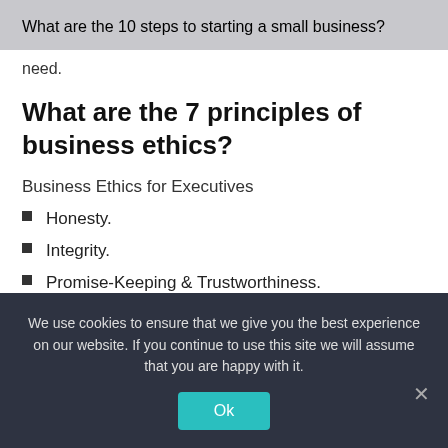What are the 10 steps to starting a small business?
need.
What are the 7 principles of business ethics?
Business Ethics for Executives
Honesty.
Integrity.
Promise-Keeping & Trustworthiness.
Loyalty.
We use cookies to ensure that we give you the best experience on our website. If you continue to use this site we will assume that you are happy with it.